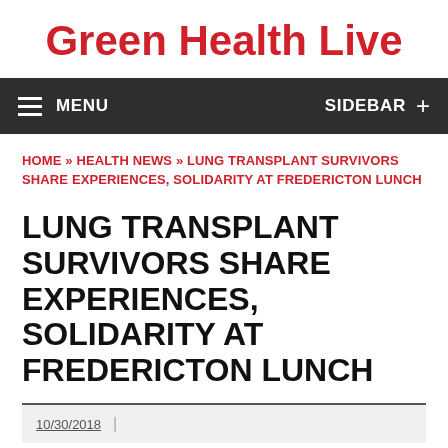Green Health Live
MENU   SIDEBAR +
HOME » HEALTH NEWS » LUNG TRANSPLANT SURVIVORS SHARE EXPERIENCES, SOLIDARITY AT FREDERICTON LUNCH
LUNG TRANSPLANT SURVIVORS SHARE EXPERIENCES, SOLIDARITY AT FREDERICTON LUNCH
10/30/2018